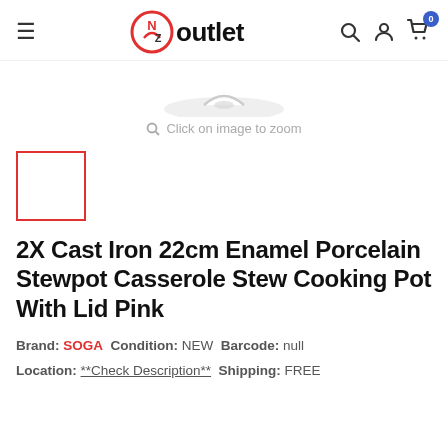NZ Outlet
[Figure (other): Product image area showing partial view of a cooking pot with a curved lid handle visible at the top, with a shadow, against white background. Below is a zoom hint icon and text.]
Click on image to zoom
[Figure (other): Small product thumbnail image box with red border outline (empty/white placeholder)]
2X Cast Iron 22cm Enamel Porcelain Stewpot Casserole Stew Cooking Pot With Lid Pink
Brand: SOGA  Condition: NEW  Barcode: null
Location: **Check Description**  Shipping: FREE